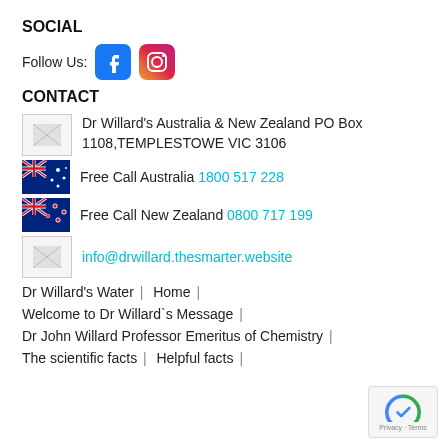SOCIAL
Follow Us: [Facebook icon] [Instagram icon]
CONTACT
Dr Willard's Australia & New Zealand PO Box 1108,TEMPLESTOWE VIC 3106
Free Call Australia 1800 517 228
Free Call New Zealand 0800 717 199
info@drwillard.thesmarter.website
Dr Willard's Water | Home |
Welcome to Dr Willard`s Message |
Dr John Willard Professor Emeritus of Chemistry |
The scientific facts | Helpful facts |